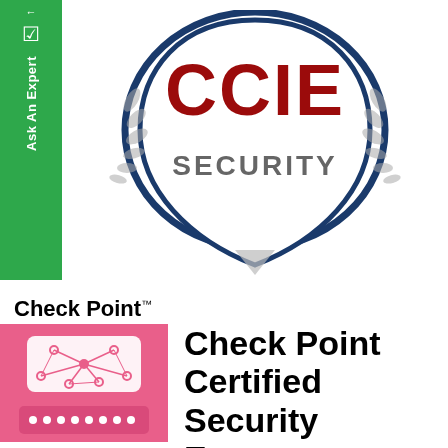[Figure (logo): Green sidebar with back arrow, checkbox icon, and 'Ask An Expert' text rotated vertically]
[Figure (logo): CCIE Security certification badge/shield logo with dark red CCIE text, navy blue shield outline, silver laurel wreaths, and gray SECURITY text]
[Figure (logo): Check Point certified security expert logo: Check Point brand name with trademark, pink/magenta square badge with network diagram illustration on top and pink dotted bar on bottom, alongside bold text reading 'Check Point Certified Security Expert']